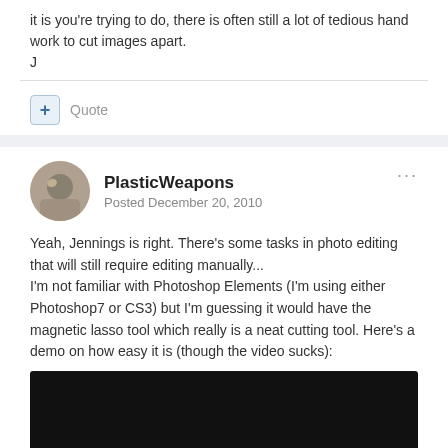it is you're trying to do, there is often still a lot of tedious hand work to cut images apart.
J
Quote
PlasticWeapons
Posted December 20, 2010
Yeah, Jennings is right. There's some tasks in photo editing that will still require editing manually...
I'm not familiar with Photoshop Elements (I'm using either Photoshop7 or CS3) but I'm guessing it would have the magnetic lasso tool which really is a neat cutting tool. Here's a demo on how easy it is (though the video sucks):
[Figure (screenshot): Embedded black video player]